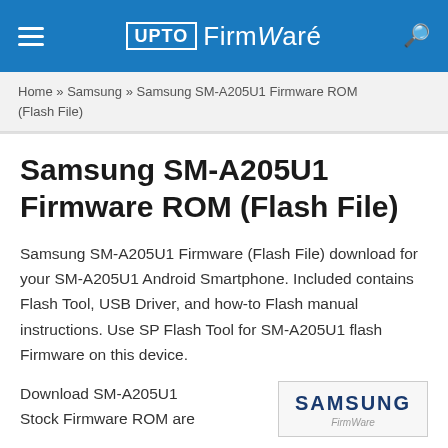UPTO Firmware
Home » Samsung » Samsung SM-A205U1 Firmware ROM (Flash File)
Samsung SM-A205U1 Firmware ROM (Flash File)
Samsung SM-A205U1 Firmware (Flash File) download for your SM-A205U1 Android Smartphone. Included contains Flash Tool, USB Driver, and how-to Flash manual instructions. Use SP Flash Tool for SM-A205U1 flash Firmware on this device.
Download SM-A205U1 Stock Firmware ROM are
[Figure (logo): Samsung brand logo in dark blue bold text]